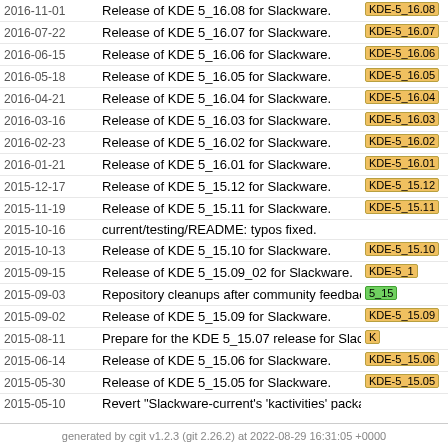| Date | Message | Tag |
| --- | --- | --- |
| 2016-11-01 | Release of KDE 5_16.08 for Slackware. | KDE-5_16.08 |
| 2016-07-22 | Release of KDE 5_16.07 for Slackware. | KDE-5_16.07 |
| 2016-06-15 | Release of KDE 5_16.06 for Slackware. | KDE-5_16.06 |
| 2016-05-18 | Release of KDE 5_16.05 for Slackware. | KDE-5_16.05 |
| 2016-04-21 | Release of KDE 5_16.04 for Slackware. | KDE-5_16.04 |
| 2016-03-16 | Release of KDE 5_16.03 for Slackware. | KDE-5_16.03 |
| 2016-02-23 | Release of KDE 5_16.02 for Slackware. | KDE-5_16.02 |
| 2016-01-21 | Release of KDE 5_16.01 for Slackware. | KDE-5_16.01 |
| 2015-12-17 | Release of KDE 5_15.12 for Slackware. | KDE-5_15.12 |
| 2015-11-19 | Release of KDE 5_15.11 for Slackware. | KDE-5_15.11 |
| 2015-10-16 | current/testing/README: typos fixed. |  |
| 2015-10-13 | Release of KDE 5_15.10 for Slackware. | KDE-5_15.10 |
| 2015-09-15 | Release of KDE 5_15.09_02 for Slackware. | KDE-5_1... |
| 2015-09-03 | Repository cleanups after community feedback. | 5_15... |
| 2015-09-02 | Release of KDE 5_15.09 for Slackware. | KDE-5_15.09 |
| 2015-08-11 | Prepare for the KDE 5_15.07 release for Slackware. | K... |
| 2015-06-14 | Release of KDE 5_15.06 for Slackware. | KDE-5_15.06 |
| 2015-05-30 | Release of KDE 5_15.05 for Slackware. | KDE-5_15.05 |
| 2015-05-10 | Revert "Slackware-current's 'kactivities' package needs... |  |
[next]
generated by cgit v1.2.3 (git 2.26.2) at 2022-08-29 16:31:05 +0000